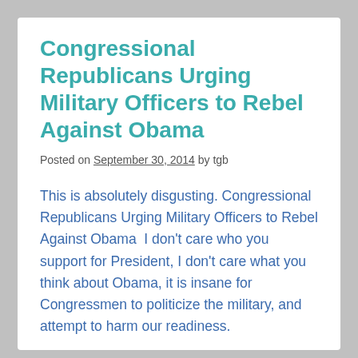Congressional Republicans Urging Military Officers to Rebel Against Obama
Posted on September 30, 2014 by tgb
This is absolutely disgusting. Congressional Republicans Urging Military Officers to Rebel Against Obama  I don't care who you support for President, I don't care what you think about Obama, it is insane for Congressmen to politicize the military, and attempt to harm our readiness.
And this guy thinks he is a patriot? How can he say he has the best interests of America at heart. What rubbish?